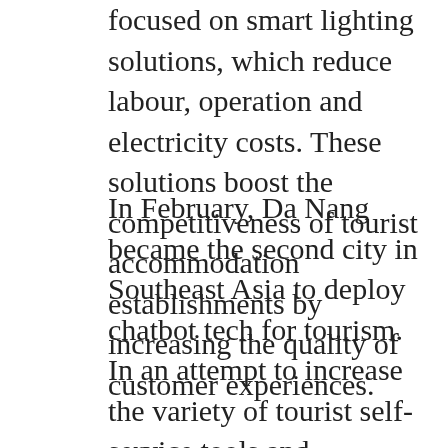focused on smart lighting solutions, which reduce labour, operation and electricity costs. These solutions boost the competitiveness of tourist accommodation establishments by increasing the quality of customer experiences.
In February, Da Nang became the second city in Southeast Asia to deploy chatbot tech for tourism. In an attempt to increase the variety of tourist self-service tools and information channels, the municipal Tourism Department coordinated with a private artificial intelligence (AI) developer to create and pilot Chatbot Danang Fantasticity, the first automatic tourism information search and support channel via text message conversation in Vietnam.